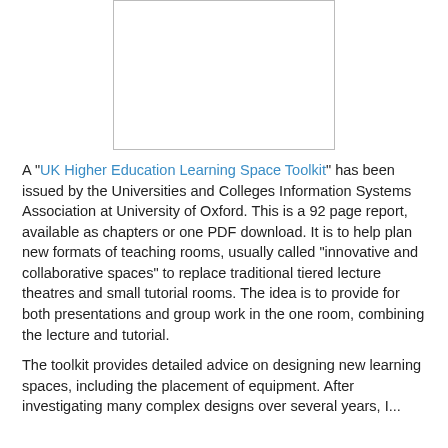[Figure (other): Blank white rectangular placeholder image with a thin border]
A "UK Higher Education Learning Space Toolkit" has been issued by the Universities and Colleges Information Systems Association at University of Oxford. This is a 92 page report, available as chapters or one PDF download. It is to help plan new formats of teaching rooms, usually called "innovative and collaborative spaces" to replace traditional tiered lecture theatres and small tutorial rooms. The idea is to provide for both presentations and group work in the one room, combining the lecture and tutorial.
The toolkit provides detailed advice on designing new learning spaces, including the placement of equipment. After investigating many complex designs over several years, I...